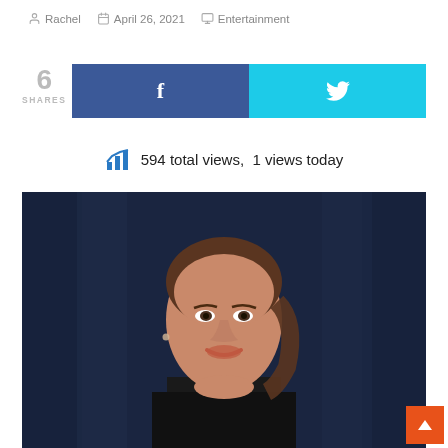Rachel  April 26, 2021  Entertainment
6 SHARES
[Figure (infographic): Social share buttons: Facebook (blue) and Twitter (cyan) side by side]
594 total views,  1 views today
[Figure (photo): A woman with brown hair pulled back, smiling, wearing a dark blazer, in front of a dark curtain background]